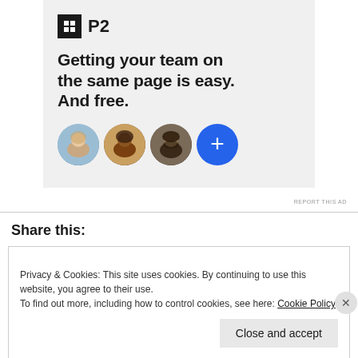[Figure (screenshot): P2 advertisement banner with logo, headline text 'Getting your team on the same page is easy. And free.', and three circular avatar photos plus a blue plus button]
REPORT THIS AD
Share this:
Privacy & Cookies: This site uses cookies. By continuing to use this website, you agree to their use.
To find out more, including how to control cookies, see here: Cookie Policy
Close and accept